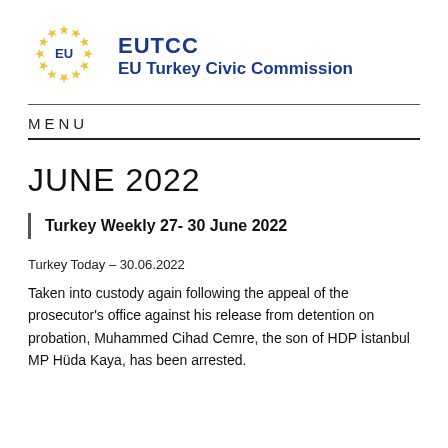[Figure (logo): EU circle of stars logo with 'EU' text in center, navy blue stars on white background]
EUTCC
EU Turkey Civic Commission
MENU
JUNE 2022
Turkey Weekly 27- 30 June 2022
Turkey Today – 30.06.2022
Taken into custody again following the appeal of the prosecutor's office against his release from detention on probation, Muhammed Cihad Cemre, the son of HDP İstanbul MP Hüda Kaya, has been arrested.